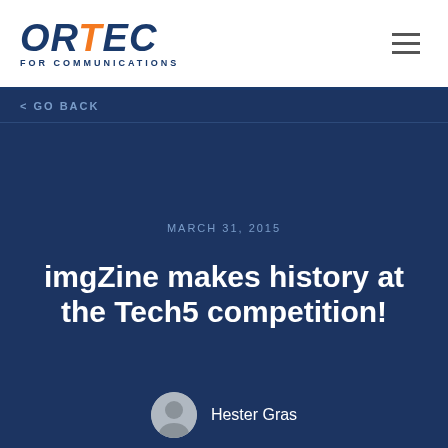[Figure (logo): ORTEC FOR COMMUNICATIONS logo — ORTEC in dark navy italic bold with E in orange, subtitle FOR COMMUNICATIONS in small caps]
< GO BACK
MARCH 31, 2015
imgZine makes history at the Tech5 competition!
Hester Gras